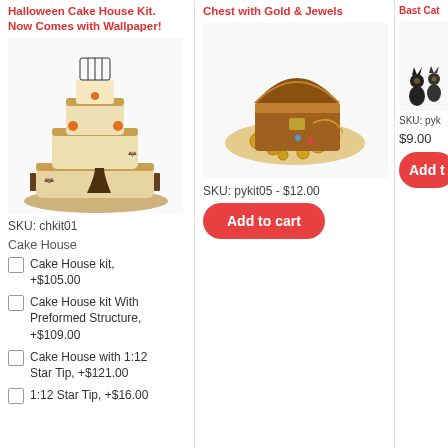Halloween Cake House Kit. Now Comes with Wallpaper!
[Figure (photo): Multi-tiered Halloween cake house decorated with pumpkins, black cats, and gothic fencing on a wooden base]
SKU: chkit01
Cake House
Cake House kit, +$105.00
Cake House kit With Preformed Structure, +$109.00
Cake House with 1:12 Star Tip, +$121.00
1:12 Star Tip, +$16.00
Chest with Gold & Jewels
[Figure (photo): Wooden treasure chest open with gold coins and jewels spilling out]
SKU: pykit05 - $12.00
Add to cart
Bast Cat
[Figure (photo): Black cat figurines with gold decorations]
SKU: pyk
$9.00
Add t